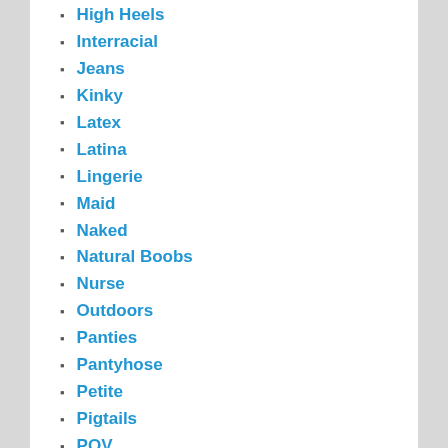High Heels
Interracial
Jeans
Kinky
Latex
Latina
Lingerie
Maid
Naked
Natural Boobs
Nurse
Outdoors
Panties
Pantyhose
Petite
Pigtails
POV
Pussy
Red Head
Schoolgirl
Secretary